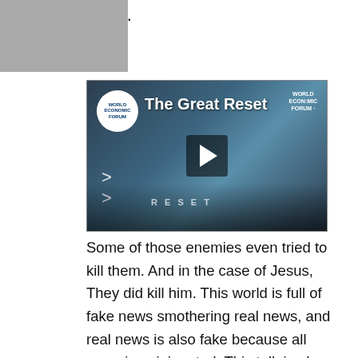versa. Menu
[Figure (screenshot): YouTube-style video thumbnail for 'The Great Reset' by World Economic Forum. Shows WEF logo (white circle) top left, title text 'The Great Reset' top center, WEF branding top right, a play button in the center, chevron arrows bottom left, dark cinematic background.]
Some of those enemies even tried to kill them. And in the case of Jesus, They did kill him. This world is full of fake news smothering real news, and real news is also fake because all news is opinionated. This talk is also opinionated. You make your own decisions and your own opinions. I’m just sharing what I personally believe. If you don’t want to believe the same, that’s quite up to you. Because nobody